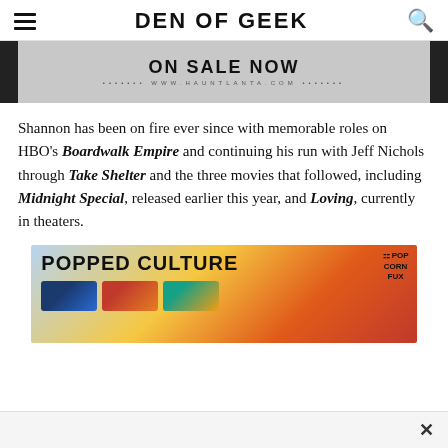DEN OF GEEK
[Figure (screenshot): Advertisement banner showing 'ON SALE NOW' and 'WWW.HAUNTLANTA.COM' text on a gray background with dark side panels]
Shannon has been on fire ever since with memorable roles on HBO's Boardwalk Empire and continuing his run with Jeff Nichols through Take Shelter and the three movies that followed, including Midnight Special, released earlier this year, and Loving, currently in theaters.
[Figure (screenshot): Advertisement for 'POPPED CULTURE' featuring Popcorn Fux branding with colorful thumbnail images below]